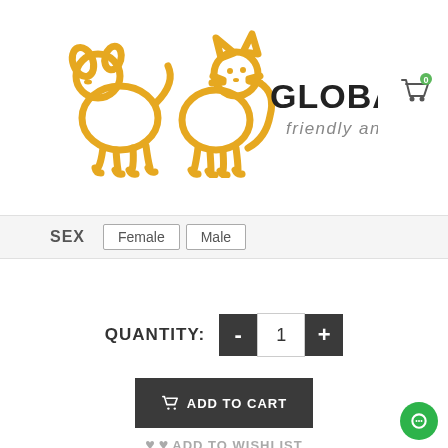[Figure (logo): Global Pet Farm logo with orange outline dog and cat silhouettes, text 'GLOBAL PET FARM' in bold black, 'friendly animals' in gray italic below]
[Figure (other): Shopping cart icon with green '0' badge in top right corner]
SEX   Female   Male
QUANTITY:  -  1  +
ADD TO CART
ADD TO WISHLIST